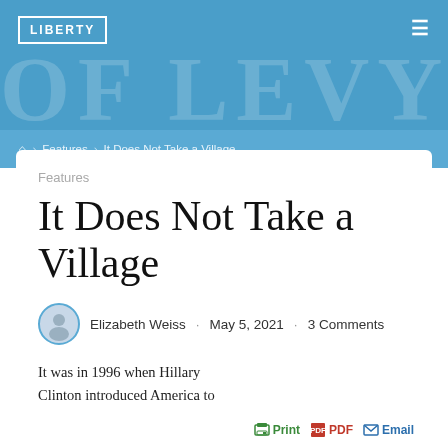LIBERTY
🏠 > Features > It Does Not Take a Village
Features
It Does Not Take a Village
Elizabeth Weiss · May 5, 2021 · 3 Comments
It was in 1996 when Hillary Clinton introduced America to